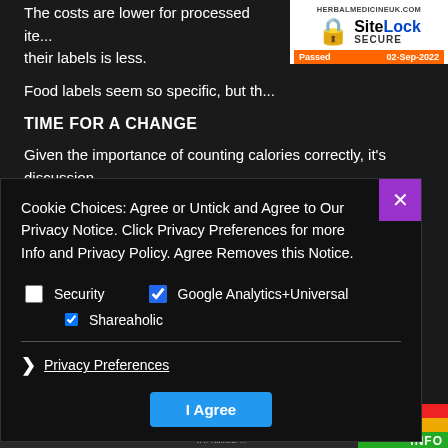The costs are lower for processed items and the information required on their labels is less.
Food labels seem so specific, but the
[Figure (logo): SiteLock Secure badge from herbalmedicineuk.com, showing a padlock icon with 'SiteLock SECURE' text, and an orange banner reading 'Passed 02-Sep-2022']
TIME FOR A CHANGE
Given the importance of counting calories correctly, it's discussion.
One idea would develop a 'traffic-light' system on food l to foods that are highly processed (red dots), ligh between (amber dots).
[Figure (other): Cookie consent modal dialog with close button. Text reads: 'Cookie Choices: Agree or Untick and Agree to Our Privacy Notice. Click Privacy Preferences for more Info and Privacy Policy. Agree Removes this Notice.' Checkboxes for Security, Google Analytics+Universal, and Shareaholic. Links to Privacy Preferences and I Agree button.]
Copyright © 2022 Herbs and ... Terms and Conditions | Melbreak Avenue, Cockermouth ... 13 1AE. Tel: +44 (0... VAT Number ...